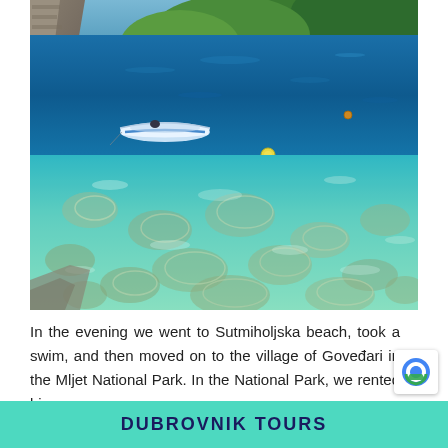[Figure (photo): A scenic coastal bay with crystal clear turquoise and blue water. A small white boat is moored near the rocky shore on the left. Dense green forest covers the hillside in the background. The shallow foreground shows rocks visible through the transparent water.]
In the evening we went to Sutmiholjska beach, took a swim, and then moved on to the village of Goveđari in the Mljet National Park. In the National Park, we rented bicyc
DUBROVNIK TOURS